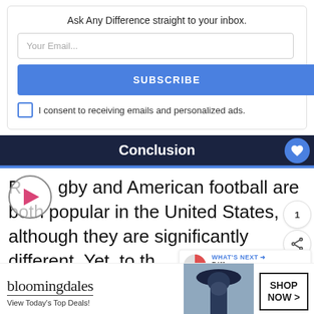Ask Any Difference straight to your inbox.
Your Email...
SUBSCRIBE
I consent to receiving emails and personalized ads.
Conclusion
Rugby and American football are both popular in the United States, although they are significantly different. Yet, to th.
[Figure (infographic): Bloomingdales advertisement banner: logo, 'View Today's Top Deals!' text, woman with hat photo, SHOP NOW > button]
WHAT'S NEXT → Difference Between...